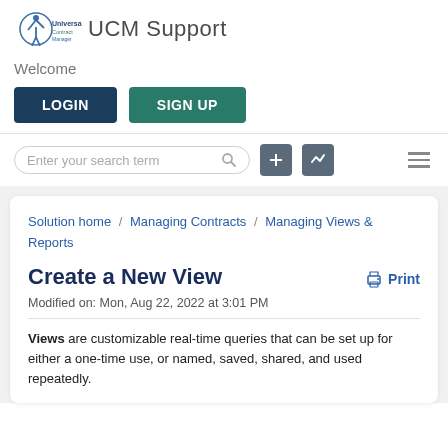UCM Support
Welcome
LOGIN   SIGN UP
Enter your search term
Solution home / Managing Contracts / Managing Views & Reports
Create a New View
Modified on: Mon, Aug 22, 2022 at 3:01 PM
Views are customizable real-time queries that can be set up for either a one-time use, or named, saved, shared, and used repeatedly.